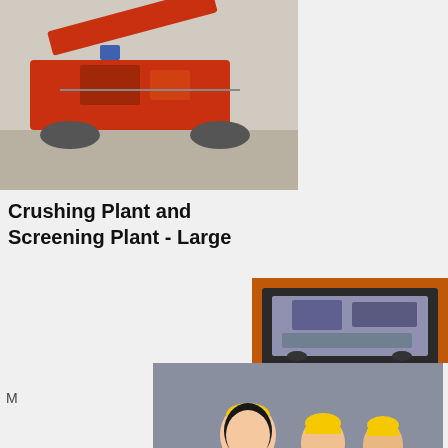[Figure (photo): Red/orange tracked mobile crushing and screening plant machinery on construction site ground]
Crushing Plant and Screening Plant - Large
[Figure (screenshot): Live Chat popup overlay showing workers in hard hats, with 'LIVE CHAT - Click for a Free Consultation' text, Chat now and Chat later buttons]
[Figure (photo): Large yellow/tan mobile crushing plant machinery outdoors]
[Figure (infographic): Orange sidebar panel showing machinery images, 'Enjoy 3% discount', 'Click to Chat', 'Enquiry', and contact email limingjlmofen@sina.com]